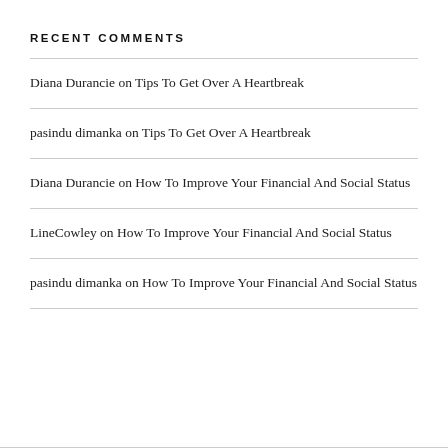RECENT COMMENTS
Diana Durancie on Tips To Get Over A Heartbreak
pasindu dimanka on Tips To Get Over A Heartbreak
Diana Durancie on How To Improve Your Financial And Social Status
LineCowley on How To Improve Your Financial And Social Status
pasindu dimanka on How To Improve Your Financial And Social Status